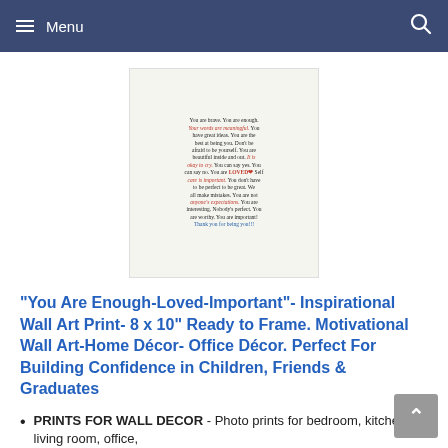Menu
[Figure (illustration): Inspirational wall art print with colorful handwritten-style text reading affirmations: 'You are brave. You are enough. Your words are meaningful. You have great ideas. You are the best at being you. Don't be afraid to be yourself. You are beautiful inside and out. It is okay to cry. You can say yes. You can say no. You are LOVED. Self care is important. You don't have to be perfect to be great. We all make mistakes. You are not anyone's expectations. You are interesting. Nobody's perfect. You are worthy. You are important. Thank you for being you!!!']
"You Are Enough-Loved-Important"- Inspirational Wall Art Print- 8 x 10" Ready to Frame. Motivational Wall Art-Home Décor- Office Décor. Perfect For Building Confidence in Children, Friends & Graduates
PRINTS FOR WALL DECOR - Photo prints for bedroom, kitchen, living room, office,